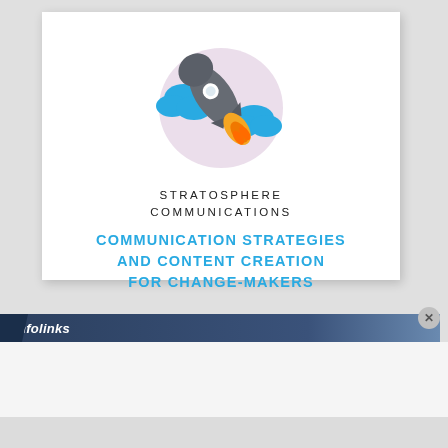[Figure (illustration): Rocket ship illustration with orange flame, blue clouds, and lavender circular background, representing Stratosphere Communications brand logo]
STRATOSPHERE COMMUNICATIONS
COMMUNICATION STRATEGIES AND CONTENT CREATION FOR CHANGE-MAKERS
infolinks